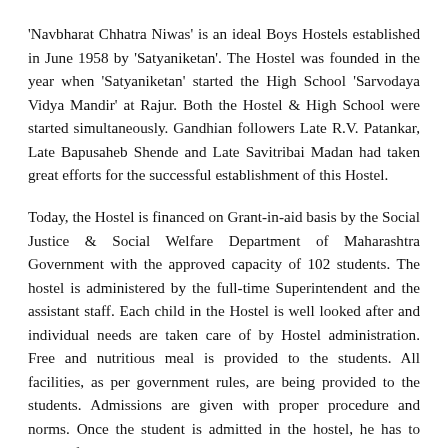'Navbharat Chhatra Niwas' is an ideal Boys Hostels established in June 1958 by 'Satyaniketan'. The Hostel was founded in the year when 'Satyaniketan' started the High School 'Sarvodaya Vidya Mandir' at Rajur. Both the Hostel & High School were started simultaneously. Gandhian followers Late R.V. Patankar, Late Bapusaheb Shende and Late Savitribai Madan had taken great efforts for the successful establishment of this Hostel.
Today, the Hostel is financed on Grant-in-aid basis by the Social Justice & Social Welfare Department of Maharashtra Government with the approved capacity of 102 students. The hostel is administered by the full-time Superintendent and the assistant staff. Each child in the Hostel is well looked after and individual needs are taken care of by Hostel administration. Free and nutritious meal is provided to the students. All facilities, as per government rules, are being provided to the students. Admissions are given with proper procedure and norms. Once the student is admitted in the hostel, he has to strictly follow the 'Schedule